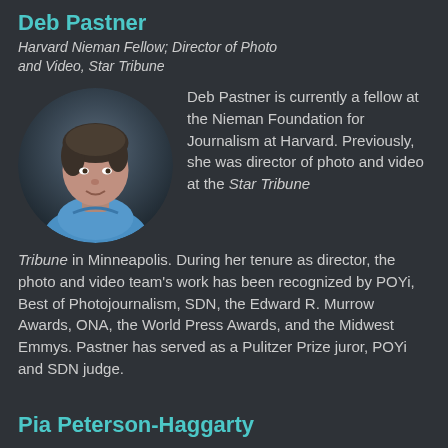Deb Pastner
Harvard Nieman Fellow; Director of Photo and Video, Star Tribune
[Figure (photo): Circular headshot photo of Deb Pastner, a woman with short dark hair wearing a blue shirt, against a dark background]
Deb Pastner is currently a fellow at the Nieman Foundation for Journalism at Harvard. Previously, she was director of photo and video at the Star Tribune in Minneapolis. During her tenure as director, the photo and video team's work has been recognized by POYi, Best of Photojournalism, SDN, the Edward R. Murrow Awards, ONA, the World Press Awards, and the Midwest Emmys. Pastner has served as a Pulitzer Prize juror, POYi and SDN judge.
Pia Peterson-Haggarty